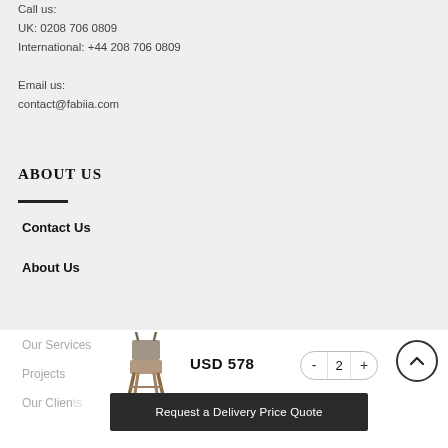Call us:
UK: 0208 706 0809
International: +44 208 706 0809

Email us:
contact@fabiia.com
ABOUT US
Contact Us
About Us
Our Services
Projects
Our Clients
[Figure (photo): Small chair product image]
USD 578
- 2 +
Request a Delivery Price Quote